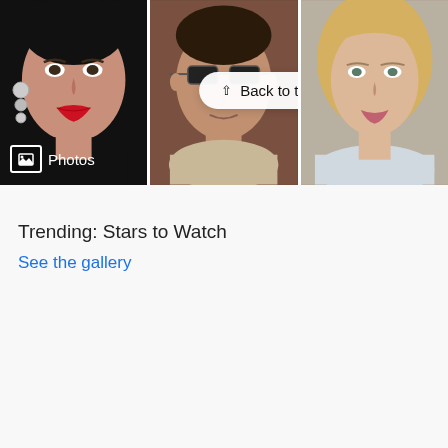[Figure (photo): A horizontal strip of three celebrity portrait photos. Left: a woman with red lips, crystal earrings, and a black turtleneck. Center: a man wearing sunglasses. Right: a blonde woman. A 'Photos' label with icon is in the lower-left corner of the strip. A 'Back to top' button with chevron is overlaid in the center-top area.]
Trending: Stars to Watch
See the gallery